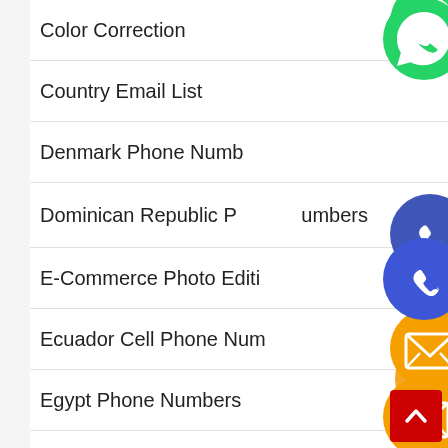Color Correction
Country Email List
Denmark Phone Numbers
Dominican Republic Phone Numbers
E-Commerce Photo Editing
Ecuador Cell Phone Numbers
Egypt Phone Numbers
email list
Estonia Phone Numbers
[Figure (screenshot): A vertical series of social media / messaging app icons (WhatsApp green, phone blue, email orange, LINE green, Viber purple, close green X) overlapping a navigation list on a website. A red back-to-top button is in the bottom right.]